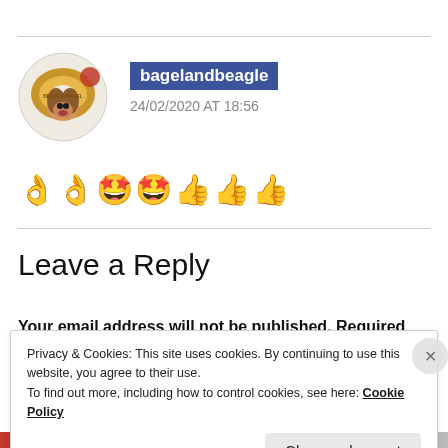[Figure (photo): Circular avatar image of a bagel with a beagle dog, labeled 'Beagle Bagel']
bagelandbeagle
24/02/2020 AT 18:56
👌👌🤩🤩👍👍👍
Leave a Reply
Your email address will not be published. Required fields
Privacy & Cookies: This site uses cookies. By continuing to use this website, you agree to their use.
To find out more, including how to control cookies, see here: Cookie Policy
Close and accept